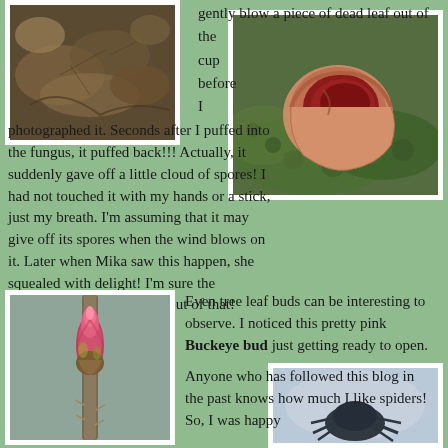[Figure (photo): Close-up photo of dead leaves and plant debris on forest floor]
[Figure (photo): Close-up photo of a red and pink cup fungus on green moss]
gently blow a piece of dead leaf out of the cup before I photographed it. Seconds after I puffed into the fungus, it puffed back!!! Actually, it suddenly gave off a little cloud of spores! I had not touched it with my hands or a stick, just my breath. I'm assuming that it may give off its spores when the wind blows on it. Later when Mika saw this happen, she squealed with delight! I'm sure the fishermen got quite a kick out of that!
[Figure (photo): Close-up photo of a pink Buckeye bud on a branch against blurred background]
Even tree leaf buds can be interesting to observe. I noticed this pretty pink Buckeye bud just getting ready to open.

Anyone who has followed this blog in the past knows how much I like spiders! So, I was happy
[Figure (photo): Partial photo of what appears to be a spider, visible at bottom right]